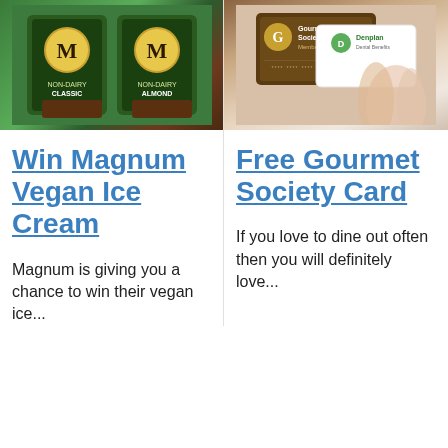[Figure (photo): Magnum Non-Dairy Vegan Ice Cream boxes - Classic and Almond flavors with green and brown packaging]
Win Magnum Vegan Ice Cream
Magnum is giving you a chance to win their vegan ice...
[Figure (photo): Gourmet Society Membership Card and Denplan card being held by a person's hand]
Free Gourmet Society Card
If you love to dine out often then you will definitely love...